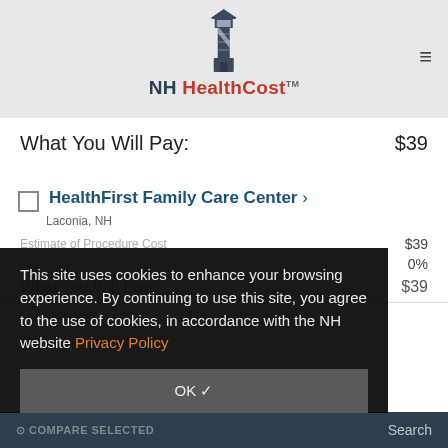[Figure (logo): NH HealthCost lighthouse logo with text]
What You Will Pay: $39
HealthFirst Family Care Center > Laconia, NH
Estimate of Procedure Cost: $39
0%
What You Will Pay: $39
This site uses cookies to enhance your browsing experience. By continuing to use this site, you agree to the use of cookies, in accordance with the NH website Privacy Policy
OK ✓
COMPARE SELECTED   Search